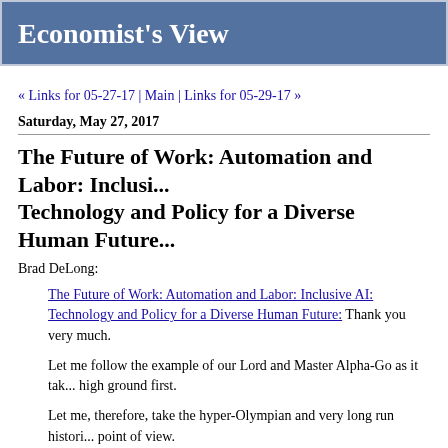Economist's View
« Links for 05-27-17 | Main | Links for 05-29-17 »
Saturday, May 27, 2017
The Future of Work: Automation and Labor: Inclusive AI: Technology and Policy for a Diverse Human Future
Brad DeLong:
The Future of Work: Automation and Labor: Inclusive AI: Technology and Policy for a Diverse Human Future: Thank you very much.
Let me follow the example of our Lord and Master Alpha-Go as it tak... high ground first.
Let me, therefore, take the hyper-Olympian and very long run histori... point of view.
The human brain is a massively parallel supercomputer that fits insid... a shoebox. It draws 50 watts of power. It is an amazing innovation,